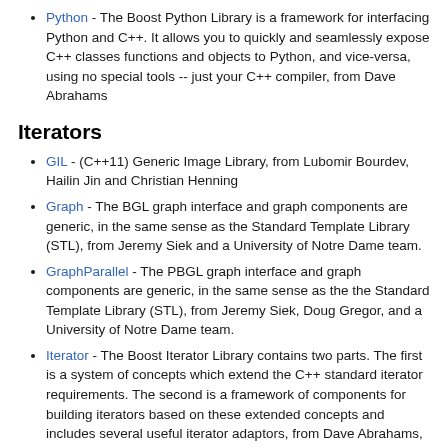Python - The Boost Python Library is a framework for interfacing Python and C++. It allows you to quickly and seamlessly expose C++ classes functions and objects to Python, and vice-versa, using no special tools -- just your C++ compiler, from Dave Abrahams
Iterators
GIL - (C++11) Generic Image Library, from Lubomir Bourdev, Hailin Jin and Christian Henning
Graph - The BGL graph interface and graph components are generic, in the same sense as the Standard Template Library (STL), from Jeremy Siek and a University of Notre Dame team.
GraphParallel - The PBGL graph interface and graph components are generic, in the same sense as the the Standard Template Library (STL), from Jeremy Siek, Doug Gregor, and a University of Notre Dame team.
Iterator - The Boost Iterator Library contains two parts. The first is a system of concepts which extend the C++ standard iterator requirements. The second is a framework of components for building iterators based on these extended concepts and includes several useful iterator adaptors, from Dave Abrahams, Jeremy Siek and Thomas Witt
Operators - Templates ease arithmetic classes and iterators, from Dave Abrahams and Jeremy Siek